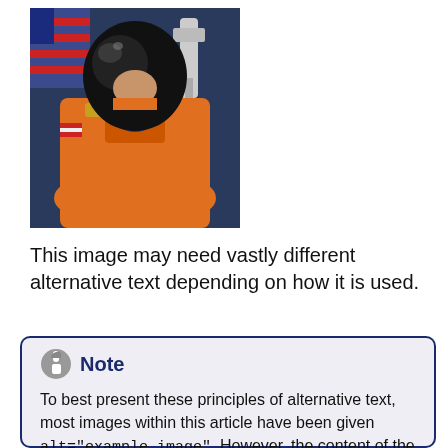[Figure (photo): NASA astronaut in orange flight suit holding a helmet, with an American flag and Space Shuttle model in the background. Official portrait photo.]
This image may need vastly different alternative text depending on how it is used.
Note
To best present these principles of alternative text, most images within this article have been given alt="example image". However, the content of the images is typically